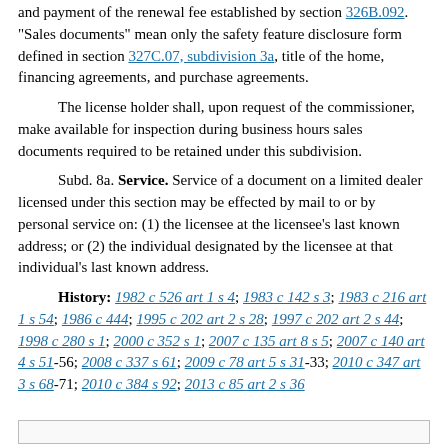and payment of the renewal fee established by section 326B.092. "Sales documents" mean only the safety feature disclosure form defined in section 327C.07, subdivision 3a, title of the home, financing agreements, and purchase agreements.
The license holder shall, upon request of the commissioner, make available for inspection during business hours sales documents required to be retained under this subdivision.
Subd. 8a. Service. Service of a document on a limited dealer licensed under this section may be effected by mail to or by personal service on: (1) the licensee at the licensee's last known address; or (2) the individual designated by the licensee at that individual's last known address.
History: 1982 c 526 art 1 s 4; 1983 c 142 s 3; 1983 c 216 art 1 s 54; 1986 c 444; 1995 c 202 art 2 s 28; 1997 c 202 art 2 s 44; 1998 c 280 s 1; 2000 c 352 s 1; 2007 c 135 art 8 s 5; 2007 c 140 art 4 s 51-56; 2008 c 337 s 61; 2009 c 78 art 5 s 31-33; 2010 c 347 art 3 s 68-71; 2010 c 384 s 92; 2013 c 85 art 2 s 36